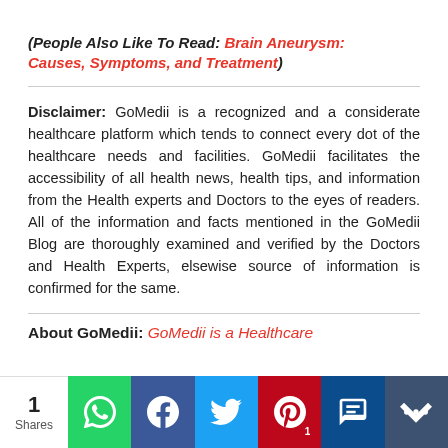(People Also Like To Read: Brain Aneurysm: Causes, Symptoms, and Treatment)
Disclaimer: GoMedii is a recognized and a considerate healthcare platform which tends to connect every dot of the healthcare needs and facilities. GoMedii facilitates the accessibility of all health news, health tips, and information from the Health experts and Doctors to the eyes of readers. All of the information and facts mentioned in the GoMedii Blog are thoroughly examined and verified by the Doctors and Health Experts, elsewise source of information is confirmed for the same.
About GoMedii: GoMedii is a Healthcare